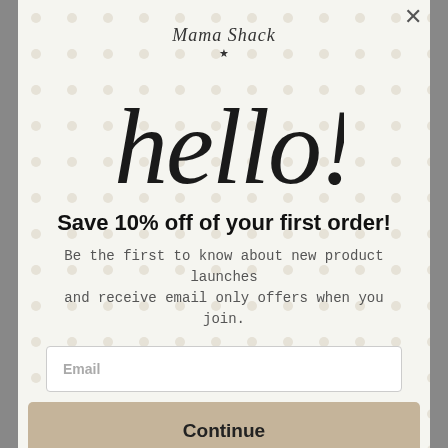[Figure (logo): Mama Shack logo with cursive text and star]
[Figure (illustration): Handwritten cursive 'hello!' in large script]
Save 10% off of your first order!
Be the first to know about new product launches and receive email only offers when you join.
Email
Continue